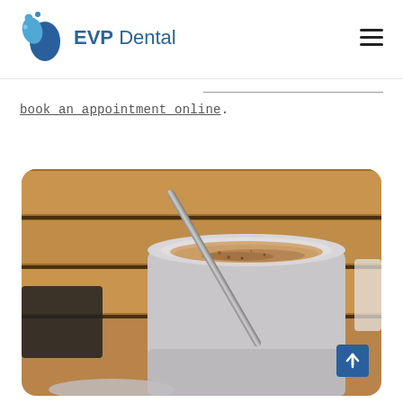[Figure (logo): EVP Dental logo with blue teardrop/person shape icon and text 'EVP Dental']
book an appointment online.
[Figure (photo): Close-up photo of a thermos cup with a metal straw containing a creamy drink sprinkled with cinnamon, sitting on a wooden surface]